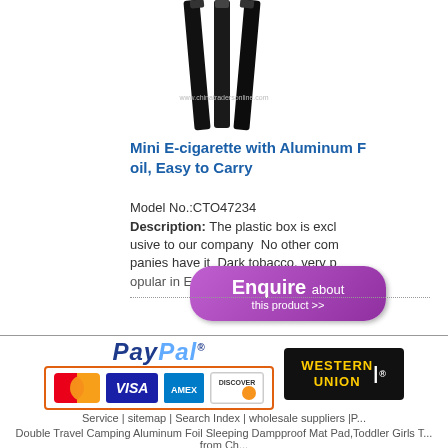[Figure (photo): Three black e-cigarette sticks viewed from above against white background with watermark www.chinatradersonline.com]
Mini E-cigarette with Aluminum Foil, Easy to Carry
Model No.:CTO47234
Description: The plastic box is exclusive to our company  No other companies have it  Dark tobacco, very popular in Europe  Not only bland tob...
[Figure (screenshot): Purple rounded button: Enquire about this product >>]
1 2 3 4 5 Next>
[Figure (logo): PayPal logo with credit card logos (MasterCard, VISA, American Express, Discover) and Western Union logo]
Service | sitemap | Search Index | wholesale suppliers |P...
Double Travel Camping Aluminum Foil Sleeping Dampproof Mat Pad,Toddler Girls T... from Ch...